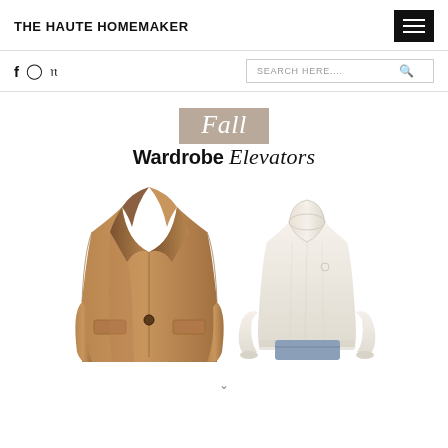THE HAUTE HOMEMAKER
f IG P
SEARCH HERE....
[Figure (illustration): Fall Wardrobe Elevators blog post feature image showing a camel wool blazer and a cream knit sweater with denim jeans peeking at the bottom. Title text reads 'Fall Wardrobe Elevators' with 'Fall' in a taupe highlight box and 'Elevators' in script font.]